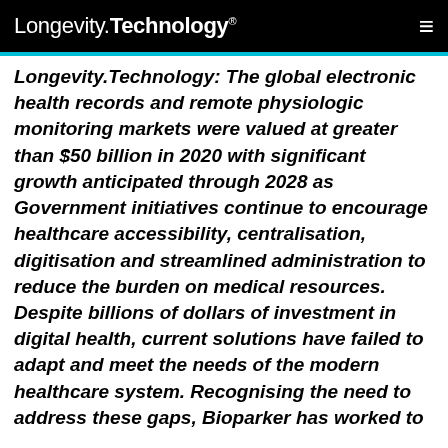Longevity.Technology®
Longevity.Technology: The global electronic health records and remote physiologic monitoring markets were valued at greater than $50 billion in 2020 with significant growth anticipated through 2028 as Government initiatives continue to encourage healthcare accessibility, centralisation, digitisation and streamlined administration to reduce the burden on medical resources. Despite billions of dollars of investment in digital health, current solutions have failed to adapt and meet the needs of the modern healthcare system. Recognising the need to address these gaps, Bioparker has worked to